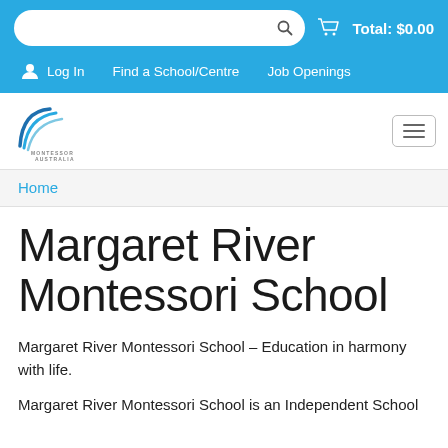Total: $0.00
Log In   Find a School/Centre   Job Openings
[Figure (logo): Montessori Australia logo — curved swoosh lines and text reading MONTESSORI AUSTRALIA]
Home
Margaret River Montessori School
Margaret River Montessori School – Education in harmony with life.
Margaret River Montessori School is an Independent School